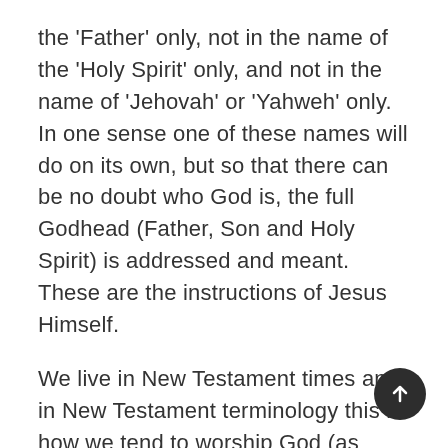the 'Father' only, not in the name of the 'Holy Spirit' only, and not in the name of 'Jehovah' or 'Yahweh' only. In one sense one of these names will do on its own, but so that there can be no doubt who God is, the full Godhead (Father, Son and Holy Spirit) is addressed and meant. These are the instructions of Jesus Himself.

We live in New Testament times and in New Testament terminology this is how we tend to worship God (as emphasised in the New Testament): We worship the Father through Jesus by the Holy Spirit. Jesus was, as one would expect, the focus of worship while on